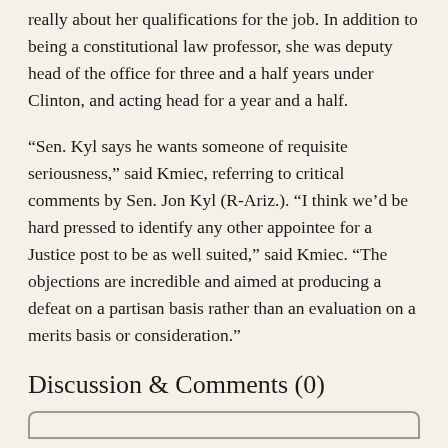really about her qualifications for the job. In addition to being a constitutional law professor, she was deputy head of the office for three and a half years under Clinton, and acting head for a year and a half.
“Sen. Kyl says he wants someone of requisite seriousness,” said Kmiec, referring to critical comments by Sen. Jon Kyl (R-Ariz.). “I think we’d be hard pressed to identify any other appointee for a Justice post to be as well suited,” said Kmiec. “The objections are incredible and aimed at producing a defeat on a partisan basis rather than an evaluation on a merits basis or consideration.”
Discussion & Comments (0)